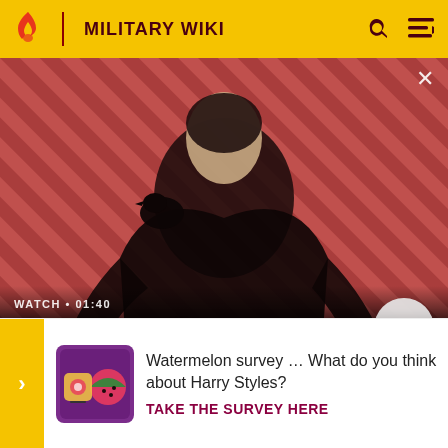MILITARY WIKI
[Figure (screenshot): Video thumbnail showing a dark-cloaked figure with a black bird/raven on their shoulder, against a red and dark diagonal striped background. Text overlaid: 'WATCH · 01:40' and title 'The Sandman Will Keep You Awake - The Loop' with a play button circle.]
brought the Army's forces to the approaches to Gdansk, and during the fourth stage of the offensive, from Marc 14 to ... a ... occup ... s part o ...
Watermelon survey … What do you think about Harry Styles?
TAKE THE SURVEY HERE